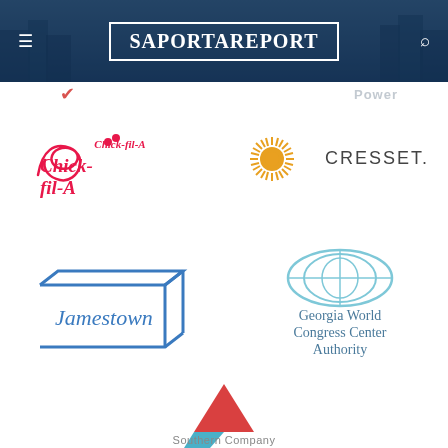SaportaReport
[Figure (logo): Chick-fil-A logo in red script]
[Figure (logo): Cresset logo with orange sunburst icon and CRESSET. text]
[Figure (logo): Jamestown logo in blue with rectangular box outline]
[Figure (logo): Georgia World Congress Center Authority logo with light blue globe icon]
[Figure (logo): Southern Company logo with red and blue triangle icon]